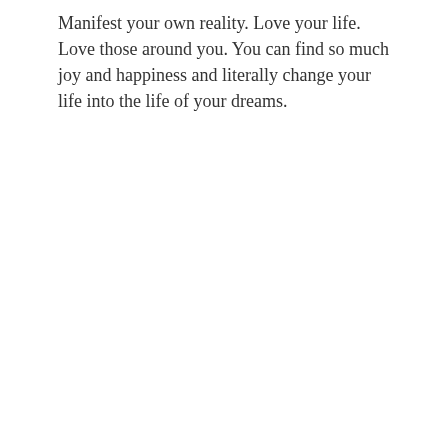Manifest your own reality. Love your life. Love those around you. You can find so much joy and happiness and literally change your life into the life of your dreams.